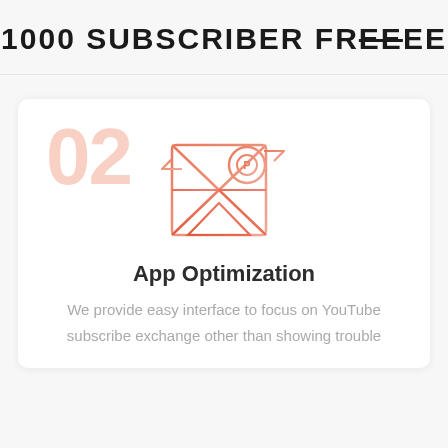1000 SUBSCRIBER FREE
[Figure (illustration): A map/location pin icon composed of geometric triangular shapes and a pin marker with letter P, rendered in coral/orange gradient tones, with a large faded '02' number in light pink behind it]
App Optimization
We provide easy interface to focus on YouTube subscribe exchange other than showing trouble